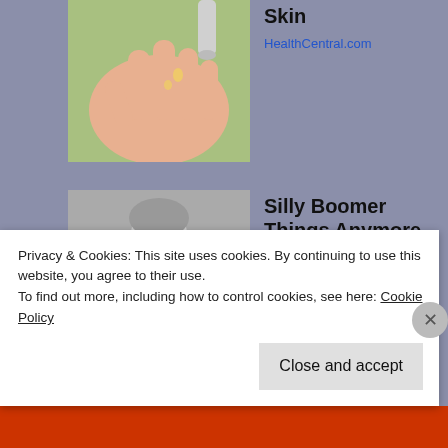Skin
HealthCentral.com
[Figure (photo): Close-up photo of a hand with drops of oil or liquid being poured onto it, green background]
Silly Boomer Things Anymore
Bon Voyaged
[Figure (photo): Black and white vintage photo of a woman in an apron holding her forehead near a laundry basket in a kitchen]
Privacy & Cookies: This site uses cookies. By continuing to use this website, you agree to their use.
To find out more, including how to control cookies, see here: Cookie Policy
Close and accept